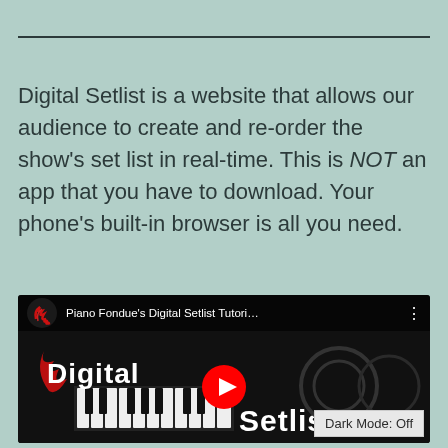Digital Setlist is a website that allows our audience to create and re-order the show's set list in real-time. This is NOT an app that you have to download. Your phone's built-in browser is all you need.
[Figure (screenshot): YouTube video thumbnail for 'Piano Fondue's Digital Setlist Tutori...' showing the Digital Setlist logo with red flame graphics and piano keys, with a YouTube play button in the center. A 'Dark Mode: Off' badge appears in the bottom right.]